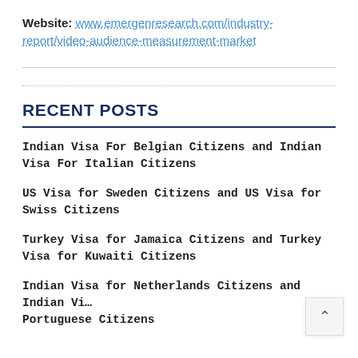Website: www.emergenresearch.com/industry-report/video-audience-measurement-market
RECENT POSTS
Indian Visa For Belgian Citizens and Indian Visa For Italian Citizens
US Visa for Sweden Citizens and US Visa for Swiss Citizens
Turkey Visa for Jamaica Citizens and Turkey Visa for Kuwaiti Citizens
Indian Visa for Netherlands Citizens and Indian Visa for Portuguese Citizens